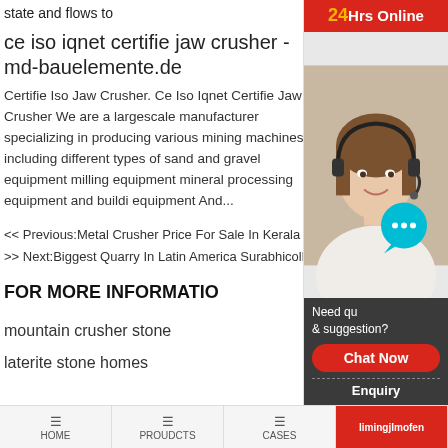state and flows to
ce iso iqnet certifie jaw crusher - md-bauelemente.de
Certifie Iso Jaw Crusher. Ce Iso Iqnet Certifie Jaw Crusher We are a largescale manufacturer specializing in producing various mining machines including different types of sand and gravel equipment milling equipment mineral processing equipment and building equipment And...
<< Previous:Metal Crusher Price For Sale In Kerala
>> Next:Biggest Quarry In Latin America Surabhicoll
FOR MORE INFORMATION
mountain crusher stone
laterite stone homes
[Figure (other): 24Hrs Online customer service sidebar with photo of woman with headset, chat bubble icon, Need question & suggestion panel, Chat Now button, Enquiry section]
HOME | PROUDCTS | CASES | limingjlmofen